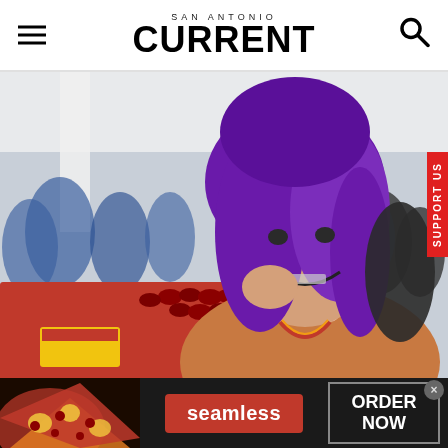SAN ANTONIO CURRENT
[Figure (photo): Woman with purple hair smiling at the camera at a food event inside a mall, with small condiment cups on a red table in foreground and crowds in the background]
[Figure (photo): Seamless food delivery advertisement banner showing pizza on the left, Seamless logo in center on red background, and ORDER NOW button on right, with a close X button]